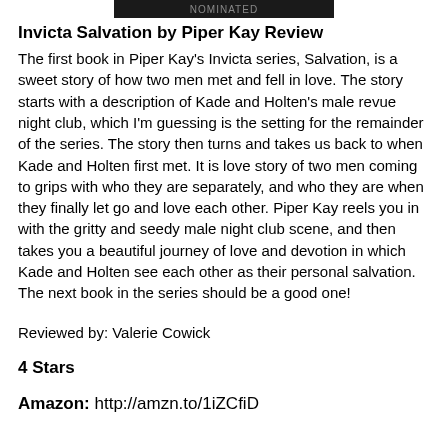NOMINATED
Invicta Salvation by Piper Kay Review
The first book in Piper Kay's Invicta series, Salvation, is a sweet story of how two men met and fell in love. The story starts with a description of Kade and Holten's male revue night club, which I'm guessing is the setting for the remainder of the series. The story then turns and takes us back to when Kade and Holten first met. It is love story of two men coming to grips with who they are separately, and who they are when they finally let go and love each other. Piper Kay reels you in with the gritty and seedy male night club scene, and then takes you a beautiful journey of love and devotion in which Kade and Holten see each other as their personal salvation. The next book in the series should be a good one!
Reviewed by: Valerie Cowick
4 Stars
Amazon: http://amzn.to/1iZCfiD